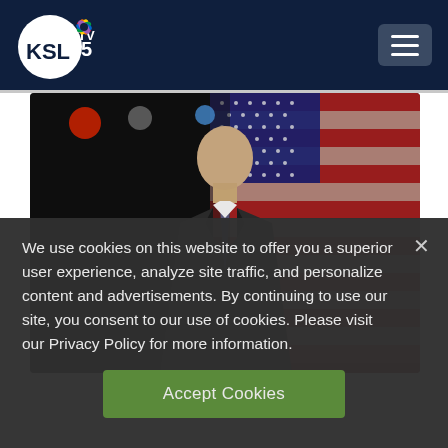KSL TV 5 NBC - Navigation header with hamburger menu
[Figure (photo): A bald man in a dark suit and tie stands in front of an American flag on a dark stage with colored stage lights]
We use cookies on this website to offer you a superior user experience, analyze site traffic, and personalize content and advertisements. By continuing to use our site, you consent to our use of cookies. Please visit our Privacy Policy for more information.
Accept Cookies